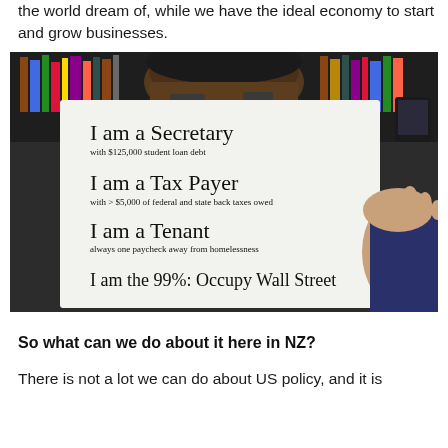the world dream of, while we have the ideal economy to start and grow businesses.
[Figure (photo): Person holding up a white sign that reads: 'I am a Secretary with $125,000 student loan debt / I am a Tax Payer with > $5,000 of federal and state back taxes owed / I am a Tenant always one paycheck away from homelessness / I am the 99%: Occupy Wall Street']
So what can we do about it here in NZ?
There is not a lot we can do about US policy, and it is